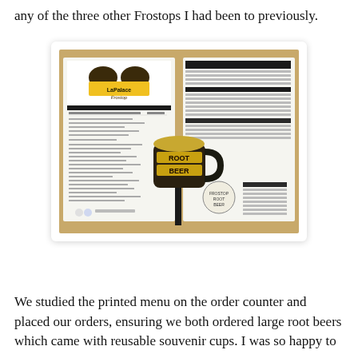any of the three other Frostops I had been to previously.
[Figure (photo): Photo of a LaPalace Frostop printed menu laid open on a wooden counter, with a root beer mug novelty sign/straw holder placed in the center of the menu.]
We studied the printed menu on the order counter and placed our orders, ensuring we both ordered large root beers which came with reusable souvenir cups. I was so happy to